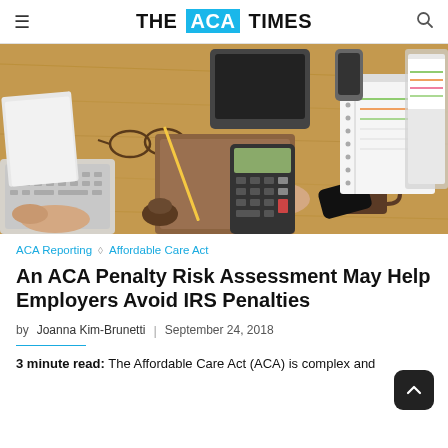THE ACA TIMES
[Figure (photo): Overhead view of a wooden desk with a person's hands using a calculator, surrounded by notebooks, glasses, a smartphone, a tablet, a coffee cup, and office supplies.]
ACA Reporting  ◇  Affordable Care Act
An ACA Penalty Risk Assessment May Help Employers Avoid IRS Penalties
by Joanna Kim-Brunetti  |  September 24, 2018
3 minute read: The Affordable Care Act (ACA) is complex and